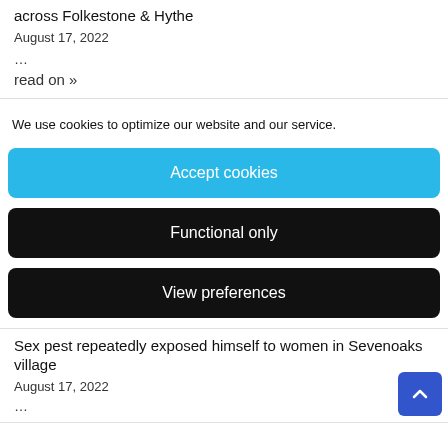across Folkestone & Hythe
August 17, 2022
…
read on »
We use cookies to optimize our website and our service.
Accept cookies
Functional only
View preferences
Sex pest repeatedly exposed himself to women in Sevenoaks village
August 17, 2022
…